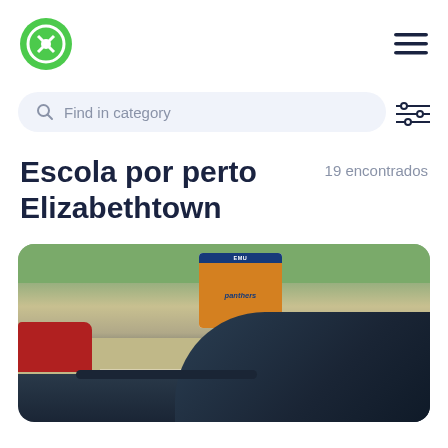[Figure (logo): Green circular logo with white compass/X symbol]
[Figure (other): Hamburger menu icon (three horizontal lines)]
[Figure (other): Search bar with magnifying glass icon and placeholder text 'Find in category', plus filter/sliders icon]
Escola por perto Elizabethtown
19 encontrados
[Figure (photo): Photo of school exterior with 'Emu Panthers' banner/sign visible through car windshield, red vehicle on left, green grass and road in background]